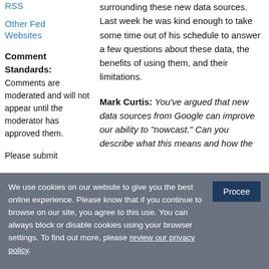RSS
Other Fed Websites
Comment Standards: Comments are moderated and will not appear until the moderator has approved them.
Please submit
surrounding these new data sources. Last week he was kind enough to take some time out of his schedule to answer a few questions about these data, the benefits of using them, and their limitations.
Mark Curtis: You've argued that new data sources from Google can improve our ability to "nowcast." Can you describe what this means and how the
We use cookies on our website to give you the best online experience. Please know that if you continue to browse on our site, you agree to this use. You can always block or disable cookies using your browser settings. To find out more, please review our privacy policy.